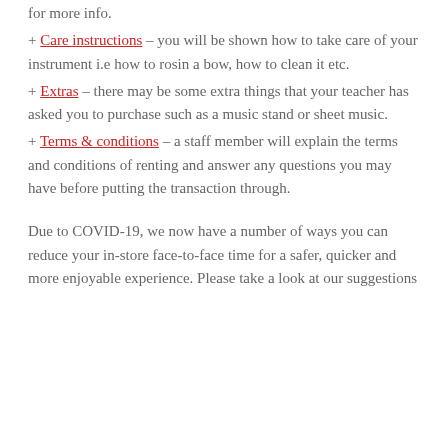for more info.
+ Care instructions - you will be shown how to take care of your instrument i.e how to rosin a bow, how to clean it etc.
+ Extras - there may be some extra things that your teacher has asked you to purchase such as a music stand or sheet music.
+ Terms & conditions - a staff member will explain the terms and conditions of renting and answer any questions you may have before putting the transaction through.
Due to COVID-19, we now have a number of ways you can reduce your in-store face-to-face time for a safer, quicker and more enjoyable experience. Please take a look at our suggestions